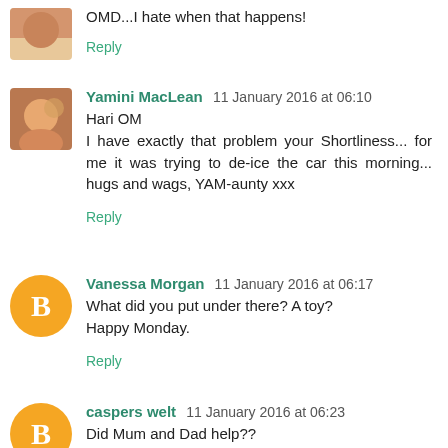OMD...I hate when that happens!
Reply
Yamini MacLean 11 January 2016 at 06:10
Hari OM
I have exactly that problem your Shortliness... for me it was trying to de-ice the car this morning... hugs and wags, YAM-aunty xxx
Reply
Vanessa Morgan 11 January 2016 at 06:17
What did you put under there? A toy?
Happy Monday.
Reply
caspers welt 11 January 2016 at 06:23
Did Mum and Dad help??